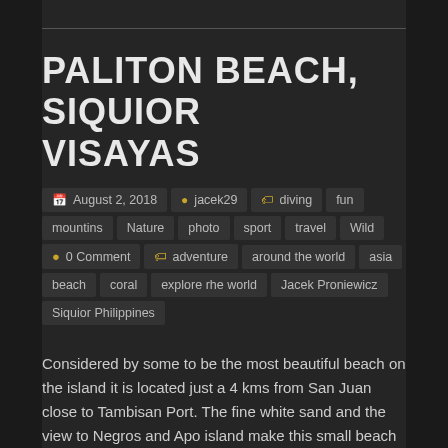PALITON BEACH, SIQUIOR VISAYAS
August 2, 2018   jacek29   diving  fun  mountins  Nature  photo  sport  travel  Wild   0 Comment   adventure  around the world  asia  beach  coral  explore rhe world  Jacek Proniewicz  Siquior Philippines
Considered by some to be the most beautiful beach on the island it is located just a 4 kms from San Juan close to Tambisan Port. The fine white sand and the view to Negros and Apo island make this small beach (approx. 150m long) a special location. Fishermen pull their boats out and you can find many that have found their final resting place there and make great photography subjects. At high tide